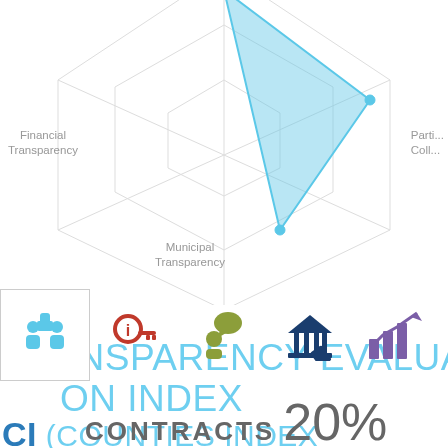[Figure (radar-chart): Partial radar/spider chart showing axes for Financial Transparency, Municipal Transparency, and Participation/Collaboration. The data polygon is filled in light blue covering upper region.]
Financial Transparency
Municipal Transparency
Participation Collaboration (partial, clipped)
TRANSPARENCY EVALUATION ON INDEX CI (COUNTIES INDEX
[Figure (infographic): Row of five icons representing categories: (1) blue thumbs-up with people (selected/highlighted), (2) red info key, (3) olive-green person with speech bubble, (4) dark blue open door with columns (institution), (5) purple chart with upward trend arrow. The first icon has a border box indicating selection.]
CONTRACTS 20%